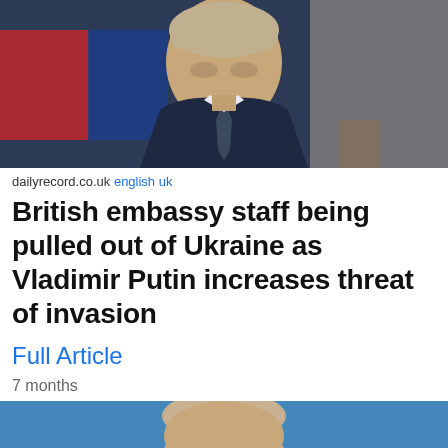[Figure (photo): Vladimir Putin in dark suit and tie, seated at a table with red and blue background elements visible]
dailyrecord.co.uk english uk
British embassy staff being pulled out of Ukraine as Vladimir Putin increases threat of invasion
Full Article
7 months
[Figure (photo): Vladimir Putin close-up portrait against blue background]